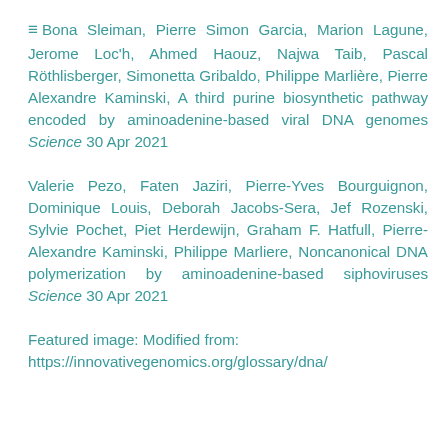≡ Bona Sleiman, Pierre Simon Garcia, Marion Lagune, Jerome Loc'h, Ahmed Haouz, Najwa Taib, Pascal Röthlisberger, Simonetta Gribaldo, Philippe Marlière, Pierre Alexandre Kaminski, A third purine biosynthetic pathway encoded by aminoadenine-based viral DNA genomes Science 30 Apr 2021
Valerie Pezo, Faten Jaziri, Pierre-Yves Bourguignon, Dominique Louis, Deborah Jacobs-Sera, Jef Rozenski, Sylvie Pochet, Piet Herdewijn, Graham F. Hatfull, Pierre-Alexandre Kaminski, Philippe Marliere, Noncanonical DNA polymerization by aminoadenine-based siphoviruses Science 30 Apr 2021
Featured image: Modified from: https://innovativegenomics.org/glossary/dna/